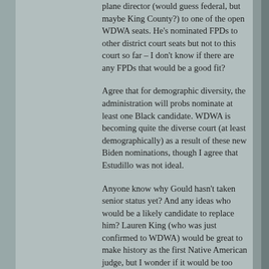plane director (would guess federal, but maybe King County?) to one of the open WDWA seats. He's nominated FPDs to other district court seats but not to this court so far – I don't know if there are any FPDs that would be a good fit?
Agree that for demographic diversity, the administration will probs nominate at least one Black candidate. WDWA is becoming quite the diverse court (at least demographically) as a result of these new Biden nominations, though I agree that Estudillo was not ideal.
Anyone know why Gould hasn't taken senior status yet? And any ideas who would be a likely candidate to replace him? Lauren King (who was just confirmed to WDWA) would be great to make history as the first Native American judge, but I wonder if it would be too soon